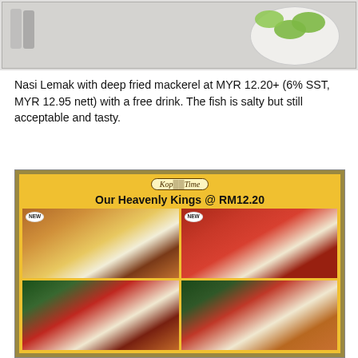[Figure (photo): Top portion of a photo showing a white plate with cucumber slices on a light background]
Nasi Lemak with deep fried mackerel at MYR 12.20+ (6% SST, MYR 12.95 nett) with a free drink. The fish is salty but still acceptable and tasty.
[Figure (photo): Photo of a restaurant menu card with gold/yellow border showing 'Our Heavenly Kings @ RM12.20' with four food images arranged in a 2x2 grid, each showing Nasi Lemak with different toppings. Two items are labeled NEW.]